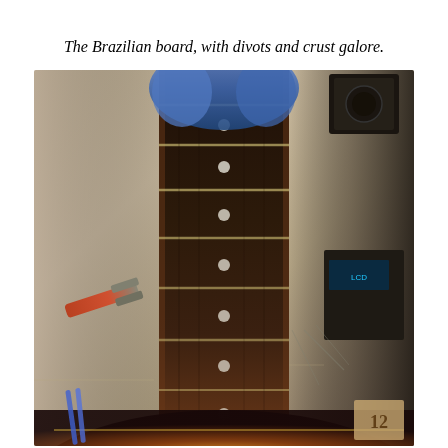The Brazilian board, with divots and crust galore.
[Figure (photo): Close-up photo of a guitar fretboard (Brazilian rosewood) on a workshop bench, with blue cloth draped over the headstock end, tools including pliers on the left, and various workshop equipment in the background. The sunburst guitar body is visible at the bottom.]